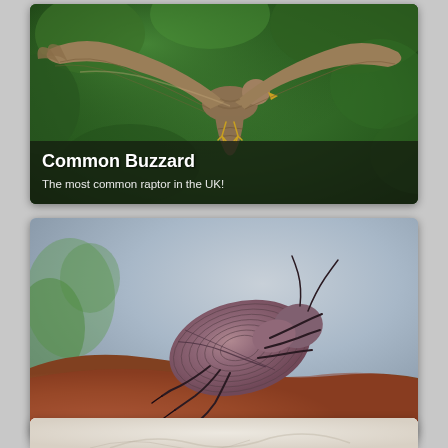[Figure (photo): A Common Buzzard raptor in flight with wings spread wide against a green bokeh background. The bird has brown and beige patterned feathers visible on wings and body.]
Common Buzzard
The most common raptor in the UK!
[Figure (photo): A close-up macro photograph of a beetle (weevil or similar species) with ridged brown/reddish-purple elytra (wing covers), visible legs, and head. The insect is photographed on a reddish-brown surface with a soft grey-blue blurred background.]
[Figure (photo): Partial view of a third card at the bottom of the page, showing a light beige/cream colored background — content mostly cut off.]